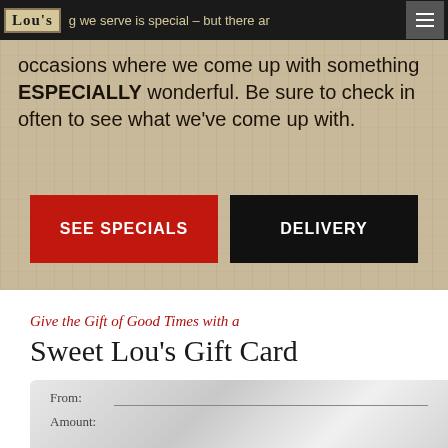Lou's | …g we serve is special – but there are occasions where we come up with something ESPECIALLY wonderful. Be sure to check in often to see what we've come up with.
…g we serve is special – but there are occasions where we come up with something ESPECIALLY wonderful. Be sure to check in often to see what we've come up with.
[Figure (other): Two call-to-action buttons: a red 'SEE SPECIALS' button and a black 'DELIVERY' button on a linen-textured background]
Give the Gift of Good Times with a
Sweet Lou's Gift Card
[Figure (other): Partial view of a Silver/grey gift card showing 'From:' and 'Amount:' fields with lines]